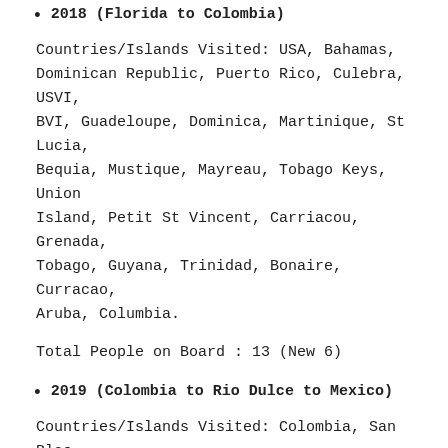2018 (Florida to Colombia)
Countries/Islands Visited: USA, Bahamas, Dominican Republic, Puerto Rico, Culebra, USVI, BVI, Guadeloupe, Dominica, Martinique, St Lucia, Bequia, Mustique, Mayreau, Tobago Keys, Union Island, Petit St Vincent, Carriacou, Grenada, Tobago, Guyana, Trinidad, Bonaire, Curracao, Aruba, Columbia.
Total People on Board : 13 (New 6)
2019 (Colombia to Rio Dulce to Mexico)
Countries/Islands Visited: Colombia, San Blas Islands, Panama, Panama Canal, San Andres, Providencia, Guanaja, Roatan, Rio Dulce, Belize,